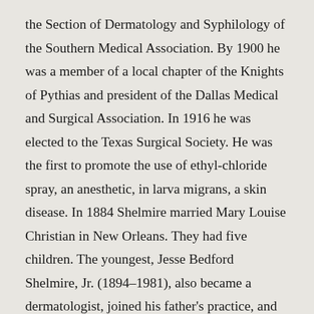the Section of Dermatology and Syphilology of the Southern Medical Association. By 1900 he was a member of a local chapter of the Knights of Pythias and president of the Dallas Medical and Surgical Association. In 1916 he was elected to the Texas Surgical Society. He was the first to promote the use of ethyl-chloride spray, an anesthetic, in larva migrans, a skin disease. In 1884 Shelmire married Mary Louise Christian in New Orleans. They had five children. The youngest, Jesse Bedford Shelmire, Jr. (1894–1981), also became a dermatologist, joined his father's practice, and later accepted the chair of dermatology at Baylor University College of Medicine. He also received the silver medal from the American Medical Association. His son, J. Bedford Shelmire III (1926–